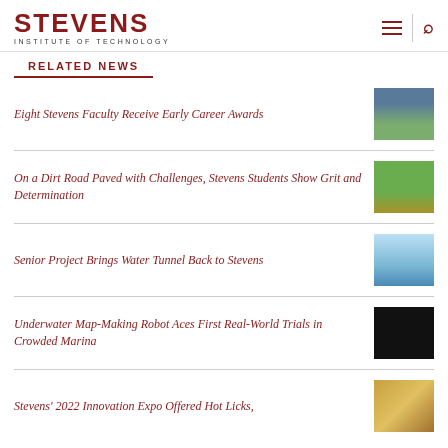STEVENS INSTITUTE OF TECHNOLOGY
RELATED NEWS
Eight Stevens Faculty Receive Early Career Awards
[Figure (photo): Photo of a historic building with green lawn]
On a Dirt Road Paved with Challenges, Stevens Students Show Grit and Determination
[Figure (photo): Photo of an off-road buggy vehicle on dirt]
Senior Project Brings Water Tunnel Back to Stevens
[Figure (photo): Photo of water tunnel experiment]
Underwater Map-Making Robot Aces First Real-World Trials in Crowded Marina
[Figure (photo): Photo of underwater robot in dark water]
Stevens' 2022 Innovation Expo Offered Hot Licks, And Twin Pavilion Prizes, and More